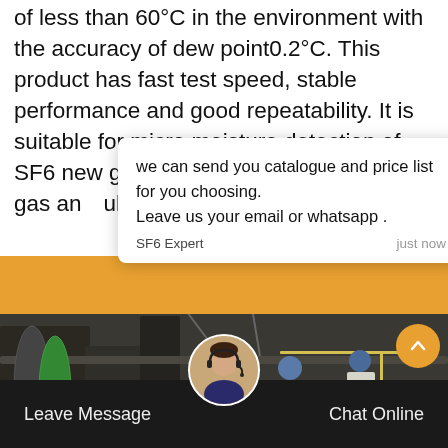of less than 60°C in the environment with the accuracy of dew point0.2°C. This product has fast test speed, stable performance and good repeatability. It is suitable for micro moisture detection of SF6 new gas, regeneration gas, running gas and fault gas in power i
[Figure (screenshot): Chat popup overlay with message: 'we can send you catalogue and price list for you choosing. Leave us your email or whatsapp .' From SF6 Expert, just now. Below is a reply input box with thumbs up and paperclip icons.]
[Figure (photo): Industrial background photo showing workers in hard hats and reflective vests working with machinery in a power plant or industrial facility.]
Leave Message
Chat Online